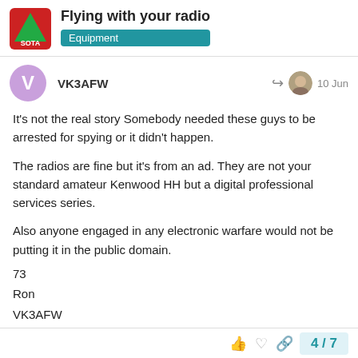Flying with your radio | Equipment
VK3AFW — 10 Jun
It's not the real story Somebody needed these guys to be arrested for spying or it didn't happen.
The radios are fine but it's from an ad. They are not your standard amateur Kenwood HH but a digital professional services series.
Also anyone engaged in any electronic warfare would not be putting it in the public domain.
73
Ron
VK3AFW
4 / 7